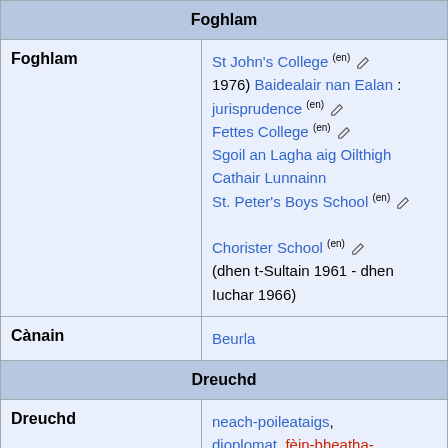| Foghlam |  |
| Foghlam | St John's College (en) [edit] 1976) Baidealair nan Ealan : jurisprudence (en) [edit] Fettes College (en) [edit] Sgoil an Lagha aig Oilthigh Cathair Lunnainn St. Peter's Boys School (en) [edit] Chorister School (en) [edit] (dhen t-Sultain 1961 - dhen Iuchar 1966) |
| Cànain | Beurla |
| Dreuchd |  |
| Dreuchd | neach-poileataigs, dioplomat, fèin-bheatha- |